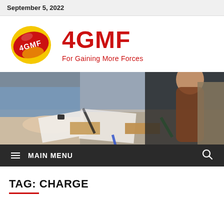September 5, 2022
[Figure (logo): 4GMF logo: red and yellow rounded shape with '4GMF' text in white]
4GMF
For Gaining More Forces
[Figure (photo): People working at a table with papers, pens, and notebooks — collaborative meeting or workshop scene]
≡  MAIN MENU
TAG: CHARGE